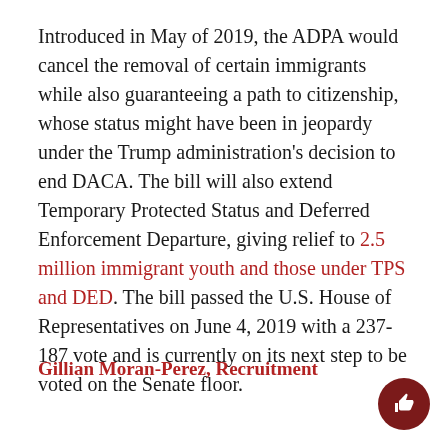Introduced in May of 2019, the ADPA would cancel the removal of certain immigrants while also guaranteeing a path to citizenship, whose status might have been in jeopardy under the Trump administration's decision to end DACA. The bill will also extend Temporary Protected Status and Deferred Enforcement Departure, giving relief to 2.5 million immigrant youth and those under TPS and DED. The bill passed the U.S. House of Representatives on June 4, 2019 with a 237-187 vote and is currently on its next step to be voted on the Senate floor.
Gillian Moran-Perez, Recruitment